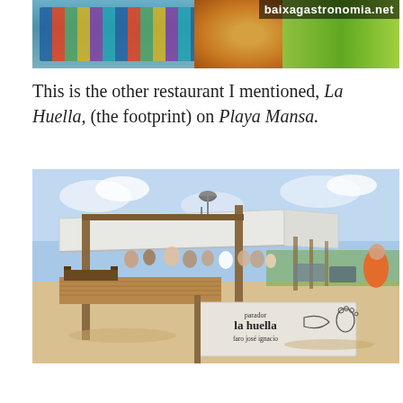[Figure (photo): Top banner photo of a market/food store shelf with colorful products and the watermark 'baixagastronomia.net']
This is the other restaurant I mentioned, La Huella, (the footprint) on Playa Mansa.
[Figure (photo): Photo of La Huella beach restaurant on Playa Mansa, showing an open-air structure with white canvas roof, wooden deck, diners, and a sign reading 'parador la huella faro josé ignacio' with fish and footprint illustrations. A bell hangs from a wooden post.]